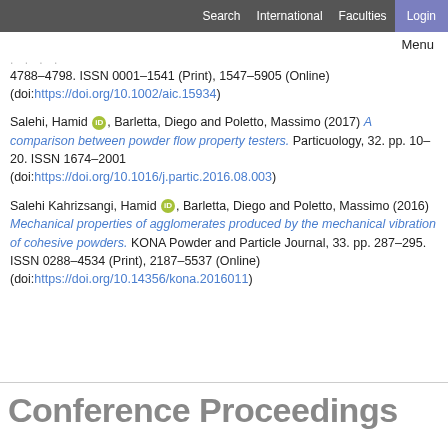Search  International  Faculties  Login
Menu
4788-4798. ISSN 0001-1541 (Print), 1547-5905 (Online) (doi:https://doi.org/10.1002/aic.15934)
Salehi, Hamid [ORCID], Barletta, Diego and Poletto, Massimo (2017) A comparison between powder flow property testers. Particuology, 32. pp. 10-20. ISSN 1674-2001 (doi:https://doi.org/10.1016/j.partic.2016.08.003)
Salehi Kahrizsangi, Hamid [ORCID], Barletta, Diego and Poletto, Massimo (2016) Mechanical properties of agglomerates produced by the mechanical vibration of cohesive powders. KONA Powder and Particle Journal, 33. pp. 287-295. ISSN 0288-4534 (Print), 2187-5537 (Online) (doi:https://doi.org/10.14356/kona.2016011)
Conference Proceedings